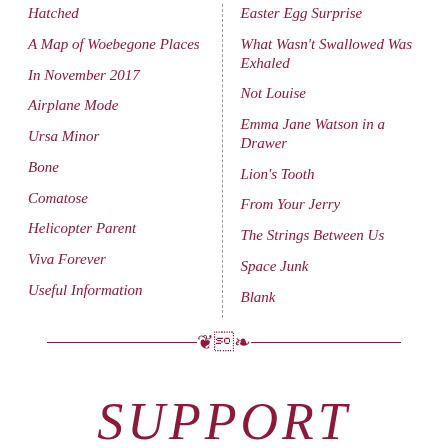Hatched
A Map of Woebegone Places
In November 2017
Airplane Mode
Ursa Minor
Bone
Comatose
Helicopter Parent
Viva Forever
Useful Information
Easter Egg Surprise
What Wasn't Swallowed Was Exhaled
Not Louise
Emma Jane Watson in a Drawer
Lion's Tooth
From Your Jerry
The Strings Between Us
Space Junk
Blank
SUPPORT